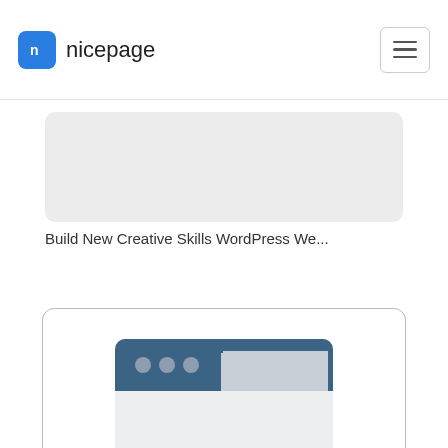nicepage
[Figure (screenshot): Truncated card showing a grey rounded rectangle placeholder image]
Build New Creative Skills WordPress We...
[Figure (illustration): Browser window icon illustration with dark teal header bar showing three grey circles and a light grey tab shape, with a light grey body area]
Easy Template Builder